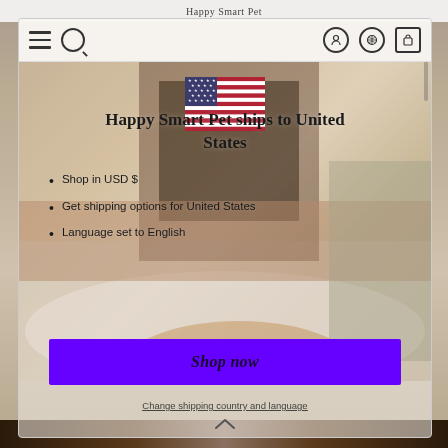Happy Smart Pet
[Figure (screenshot): Website modal popup showing a US flag, text about shipping to United States, bullet points, and a Shop now button over a background photo of a fluffy golden dog on a white furry rug]
Happy Smart Pet ships to United States
Shop in USD $
Get shipping options for United States
Language set to English
Shop now
Change shipping country and language